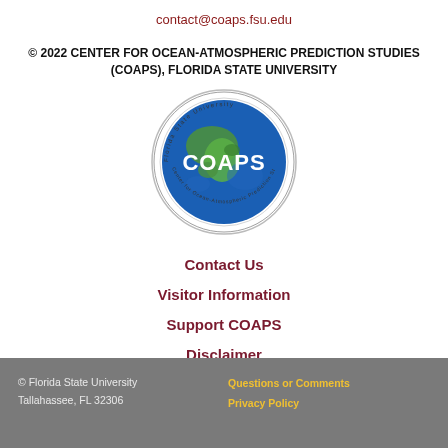contact@coaps.fsu.edu
© 2022 CENTER FOR OCEAN-ATMOSPHERIC PREDICTION STUDIES (COAPS), FLORIDA STATE UNIVERSITY
[Figure (logo): COAPS logo — circular seal with globe showing North America, text 'COAPS' in white bold letters, outer ring reads 'Florida State University' and 'Center for Ocean-Atmospheric Prediction Studies']
Contact Us
Visitor Information
Support COAPS
Disclaimer
Sitemap
© Florida State University
Tallahassee, FL 32306
Questions or Comments
Privacy Policy